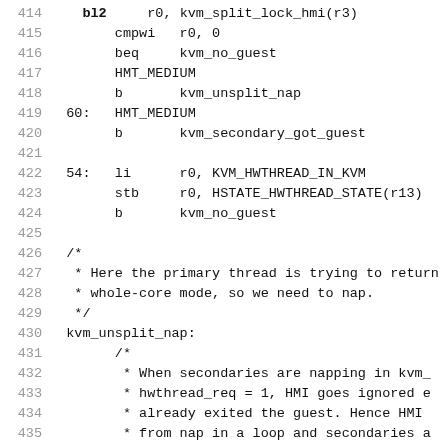414    bl2     r0, kvm_split_lock_hmi(r3)
415         cmpwi   r0, 0
416         beq     kvm_no_guest
417         HMT_MEDIUM
418         b       kvm_unsplit_nap
419    60:  HMT_MEDIUM
420         b       kvm_secondary_got_guest
421
422    54:  li      r0, KVM_HWTHREAD_IN_KVM
423         stb     r0, HSTATE_HWTHREAD_STATE(r13)
424         b       kvm_no_guest
425
426    /*
427     * Here the primary thread is trying to return
428     * whole-core mode, so we need to nap.
429     */
430    kvm_unsplit_nap:
431         /*
432          * When secondaries are napping in kvm_
433          * hwthread_req = 1, HMI goes ignored e
434          * already exited the guest. Hence HMI
435          * from nap in a loop and secondaries a